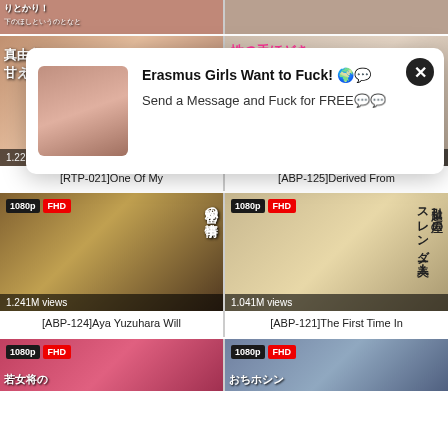[Figure (screenshot): Video thumbnail grid with popup ad overlay. Top row: two partially visible thumbnails. Middle rows: video thumbnails with view counts and titles for [RTP-021]One Of My, [ABP-125]Derived From, [ABP-124]Aya Yuzuhara Will, [ABP-121]The First Time In. Bottom row: two partially visible thumbnails with 1080p FHD badges. Popup ad overlays the top portion: woman photo, 'Erasmus Girls Want to Fuck! Send a Message and Fuck for FREE' with close button.]